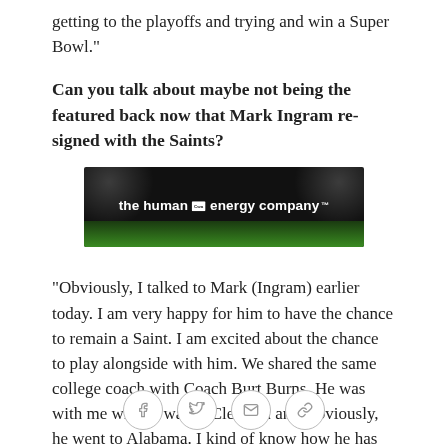getting to the playoffs and trying and win a Super Bowl."
Can you talk about maybe not being the featured back now that Mark Ingram re-signed with the Saints?
[Figure (photo): Advertisement banner for 'the human energy company' (Chevron) with dark background, stadium lighting, and green grass field at bottom.]
"Obviously, I talked to Mark (Ingram) earlier today. I am very happy for him to have the chance to remain a Saint.  I am excited about the chance to play alongside with him. We shared the same college coach with Coach Burt Burns.  He was with me while I was at Clemson and, obviously, he went to Alabama. I kind of know how he has been coached and kind of have an
Social share icons: Facebook, Twitter, Email, Link